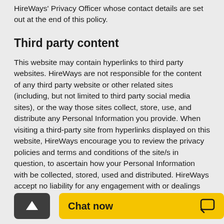HireWays' Privacy Officer whose contact details are set out at the end of this policy.
Third party content
This website may contain hyperlinks to third party websites. HireWays are not responsible for the content of any third party website or other related sites (including, but not limited to third party social media sites), or the way those sites collect, store, use, and distribute any Personal Information you provide. When visiting a third-party site from hyperlinks displayed on this website, HireWays encourage you to review the privacy policies and terms and conditions of the site/s in question, to ascertain how your Personal Information with be collected, stored, used and distributed. HireWays accept no liability for any engagement with or dealings between yourself and any third party or advertiser.
Unsolicited electr…